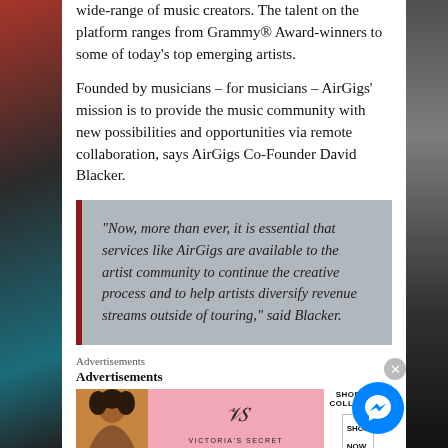wide-range of music creators. The talent on the platform ranges from Grammy® Award-winners to some of today's top emerging artists.
Founded by musicians – for musicians – AirGigs' mission is to provide the music community with new possibilities and opportunities via remote collaboration, says AirGigs Co-Founder David Blacker.
“Now, more than ever, it is essential that services like AirGigs are available to the artist community to continue the creative process and to help artists diversify revenue streams outside of touring,” said Blacker.
Advertisements
Advertisements
[Figure (photo): Victoria's Secret advertisement banner with woman, logo, 'SHOP THE COLLECTION' and 'SHOP NOW' button]